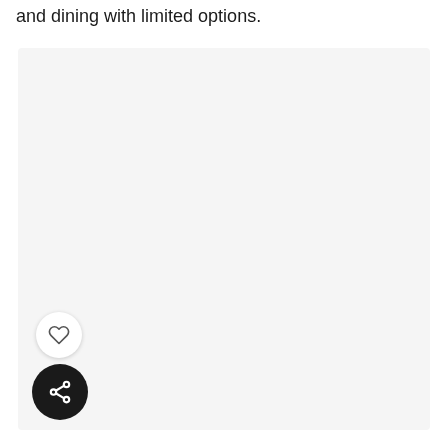and dining with limited options.
[Figure (other): Large light-gray rectangular image placeholder area with rounded corners. Contains a heart (favorite) button and a share button in the lower left area.]